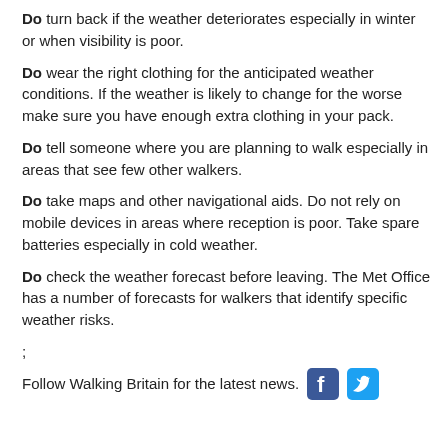Do turn back if the weather deteriorates especially in winter or when visibility is poor.
Do wear the right clothing for the anticipated weather conditions. If the weather is likely to change for the worse make sure you have enough extra clothing in your pack.
Do tell someone where you are planning to walk especially in areas that see few other walkers.
Do take maps and other navigational aids. Do not rely on mobile devices in areas where reception is poor. Take spare batteries especially in cold weather.
Do check the weather forecast before leaving. The Met Office has a number of forecasts for walkers that identify specific weather risks.
;
Follow Walking Britain for the latest news.